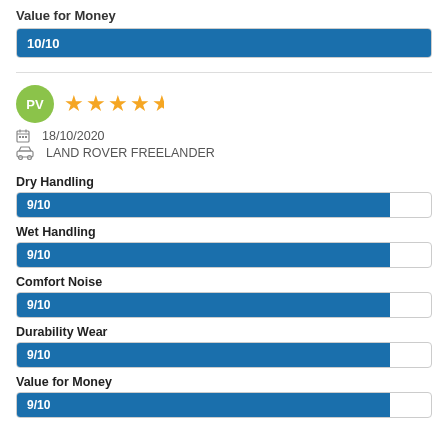Value for Money
[Figure (bar-chart): Value for Money]
PV — 18/10/2020 — LAND ROVER FREELANDER — 4.5 stars
[Figure (bar-chart): Ratings]